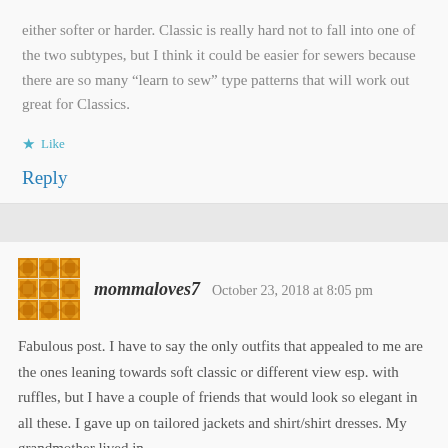either softer or harder. Classic is really hard not to fall into one of the two subtypes, but I think it could be easier for sewers because there are so many “learn to sew” type patterns that will work out great for Classics.
Like
Reply
mommaloves7   October 23, 2018 at 8:05 pm
Fabulous post. I have to say the only outfits that appealed to me are the ones leaning towards soft classic or different view esp. with ruffles, but I have a couple of friends that would look so elegant in all these. I gave up on tailored jackets and shirt/shirt dresses. My grandmother lived in